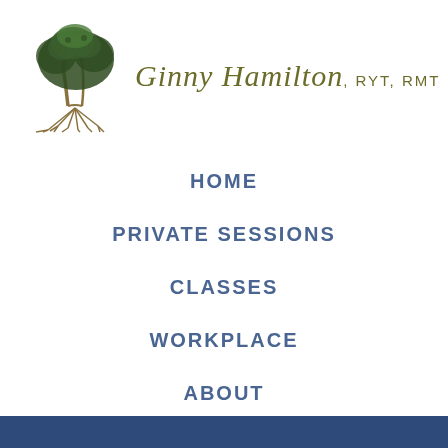[Figure (logo): Ginny Hamilton RYT RMT logo with a stylized tree with exposed roots and cursive text reading 'Ginny Hamilton, RYT, RMT']
HOME
PRIVATE SESSIONS
CLASSES
WORKPLACE
ABOUT
BLOG